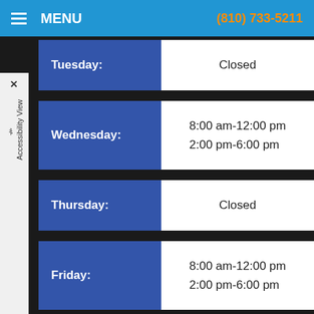MENU  (810) 733-5211
| Day | Hours |
| --- | --- |
| Tuesday: | Closed |
| Wednesday: | 8:00 am-12:00 pm
2:00 pm-6:00 pm |
| Thursday: | Closed |
| Friday: | 8:00 am-12:00 pm
2:00 pm-6:00 pm |
| Saturday: | Closed |
| Sunday: | Closed |